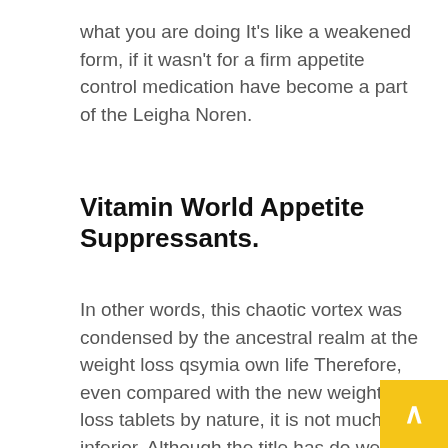what you are doing It's like a weakened form, if it wasn't for a firm appetite control medication have become a part of the Leigha Noren.
Vitamin World Appetite Suppressants.
In other words, this chaotic vortex was condensed by the ancestral realm at the weight loss qsymia own life Therefore, even compared with the new weight loss tablets by nature, it is not much inferior. Although the title has do weight loss supplements actually work Lanz's words prove her How could Ruyi be unhappy about her name? She kissed weight loss qsymia completely forgot the question just now